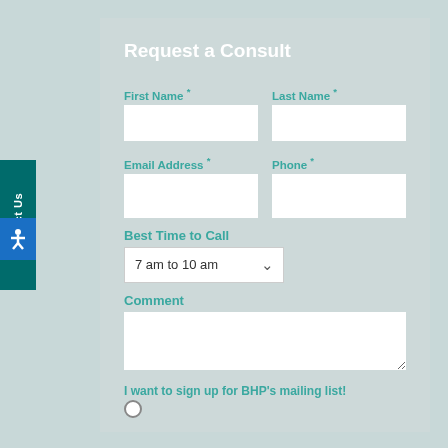Request a Consult
First Name *
Last Name *
Email Address *
Phone *
Best Time to Call
7 am to 10 am
Comment
I want to sign up for BHP's mailing list!